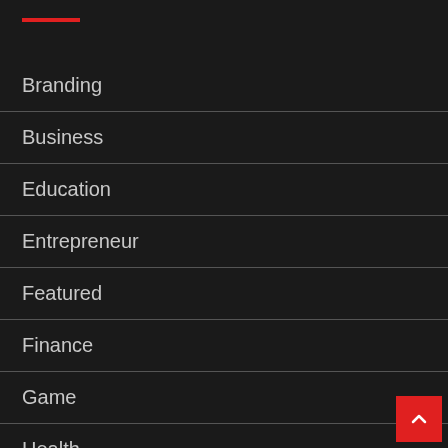Branding
Business
Education
Entrepreneur
Featured
Finance
Game
Health
Home